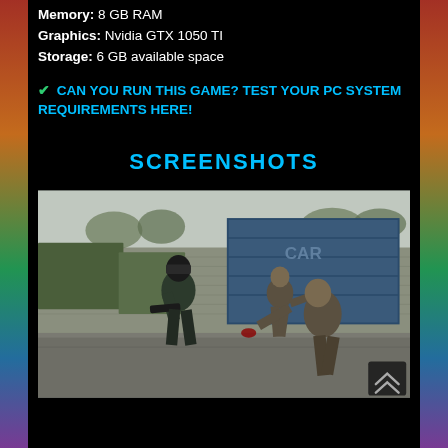Memory: 8 GB RAM
Graphics: Nvidia GTX 1050 TI
Storage: 6 GB available space
✔ CAN YOU RUN THIS GAME? TEST YOUR PC SYSTEM REQUIREMENTS HERE!
SCREENSHOTS
[Figure (screenshot): Game screenshot showing a soldier character with a gun facing zombie-like enemies in an industrial yard with shipping containers in the background.]